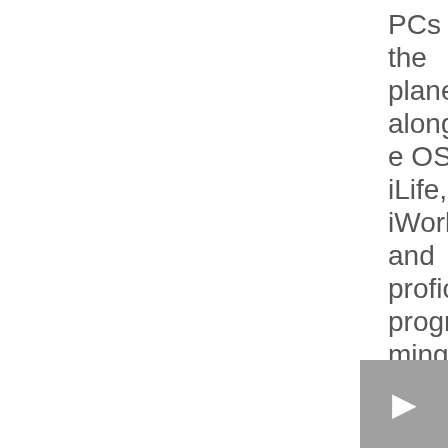PCs on the planet, alongside OS X, iLife, iWork and proficient programming. Apple drives the computerized music
[Figure (other): Navigation button with right arrow icon]